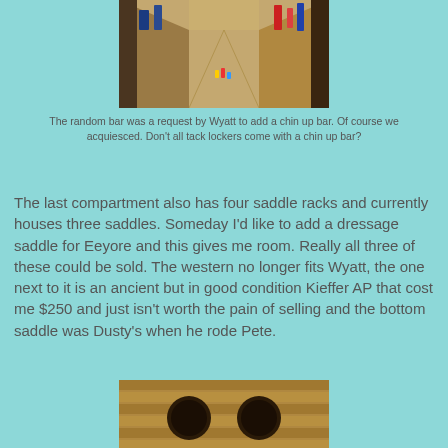[Figure (photo): Interior of a wooden tack locker/barn corridor with wooden plank walls and floor, items hanging on walls, small toy figures visible on the floor]
The random bar was a request by Wyatt to add a chin up bar. Of course we acquiesced. Don't all tack lockers come with a chin up bar?
The last compartment also has four saddle racks and currently houses three saddles. Someday I'd like to add a dressage saddle for Eeyore and this gives me room. Really all three of these could be sold. The western no longer fits Wyatt, the one next to it is an ancient but in good condition Kieffer AP that cost me $250 and just isn't worth the pain of selling and the bottom saddle was Dusty's when he rode Pete.
[Figure (photo): Close-up interior view of a wooden tack locker showing saddle racks with saddles stored on them, wooden construction visible]